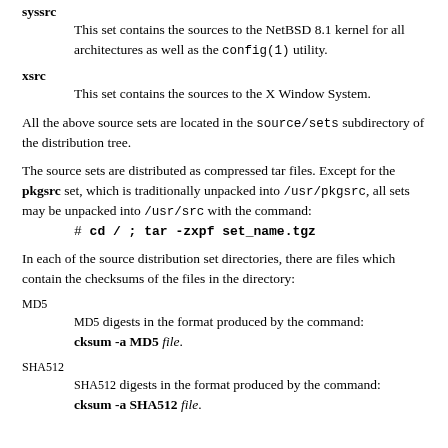syssrc
This set contains the sources to the NetBSD 8.1 kernel for all architectures as well as the config(1) utility.
xsrc
This set contains the sources to the X Window System.
All the above source sets are located in the source/sets subdirectory of the distribution tree.
The source sets are distributed as compressed tar files. Except for the pkgsrc set, which is traditionally unpacked into /usr/pkgsrc, all sets may be unpacked into /usr/src with the command:
In each of the source distribution set directories, there are files which contain the checksums of the files in the directory:
MD5
MD5 digests in the format produced by the command: cksum -a MD5 file.
SHA512
SHA512 digests in the format produced by the command: cksum -a SHA512 file.